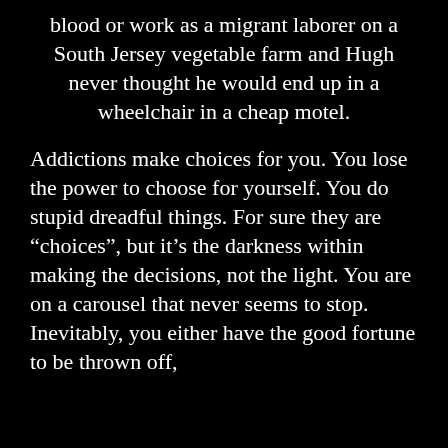blood or work as a migrant laborer on a South Jersey vegetable farm and Hugh never thought he would end up in a wheelchair in a cheap motel.
Addictions make choices for you. You lose the power to choose for yourself. You do stupid dreadful things. For sure they are “choices”, but it’s the darkness within making the decisions, not the light. You are on a carousel that never seems to stop. Inevitably, you either have the good fortune to be thrown off,